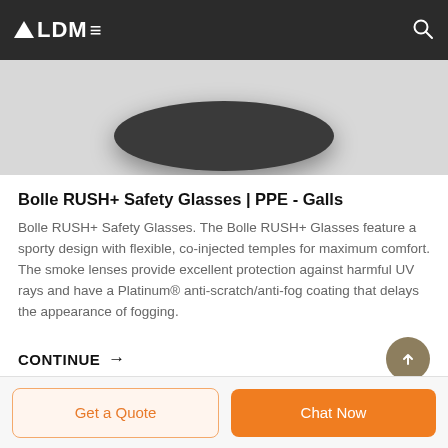ALDM≡
[Figure (photo): Product image area showing safety glasses in dark rounded case against grey background]
Bolle RUSH+ Safety Glasses | PPE - Galls
Bolle RUSH+ Safety Glasses. The Bolle RUSH+ Glasses feature a sporty design with flexible, co-injected temples for maximum comfort. The smoke lenses provide excellent protection against harmful UV rays and have a Platinum® anti-scratch/anti-fog coating that delays the appearance of fogging.
CONTINUE →
Get a Quote
Chat Now